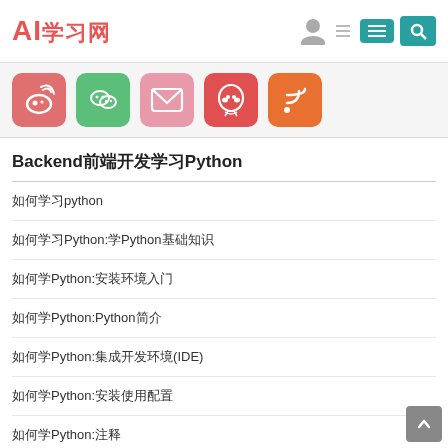AI学习网
[Figure (infographic): Social media icon buttons: Weibo (red), WeChat (green), Email (pink), QQ (red), RSS (orange)]
Backend前端开发学习Python
如何学习python
如何学习Python:学Python基础知识
如何学Python:安装环境入门
如何学Python:Python简介
如何学Python:集成开发环境(IDE)
如何学Python:安装使用配置
如何学Python:注释